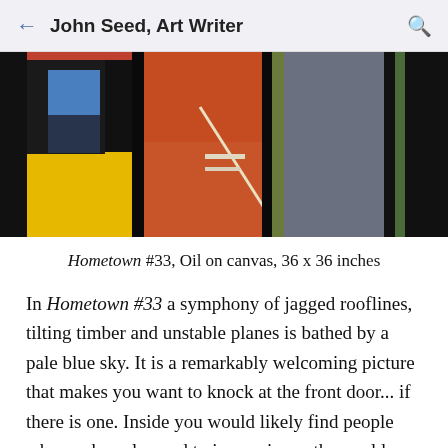John Seed, Art Writer
[Figure (photo): Painting showing abstract colorful panels with rooflines — yellows, blacks, oranges, blues, greens, grays in vertical rectangular sections]
Hometown #33, Oil on canvas, 36 x 36 inches
In Hometown #33 a symphony of jagged rooflines, tilting timber and unstable planes is bathed by a pale blue sky. It is a remarkably welcoming picture that makes you want to knock at the front door... if there is one. Inside you would likely find people who are have learned to improvise as the world